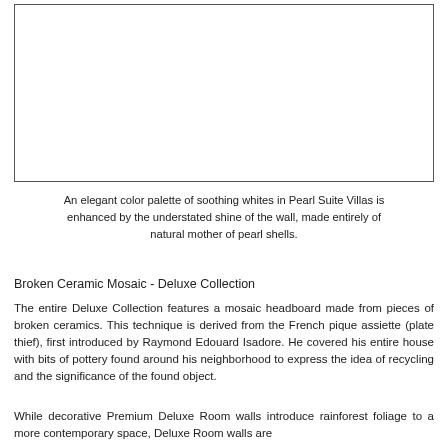[Figure (photo): Empty white box representing a photo placeholder with a thin border]
An elegant color palette of soothing whites in Pearl Suite Villas is enhanced by the understated shine of the wall, made entirely of natural mother of pearl shells.
Broken Ceramic Mosaic - Deluxe Collection
The entire Deluxe Collection features a mosaic headboard made from pieces of broken ceramics. This technique is derived from the French pique assiette (plate thief), first introduced by Raymond Edouard Isadore. He covered his entire house with bits of pottery found around his neighborhood to express the idea of recycling and the significance of the found object.
While decorative Premium Deluxe Room walls introduce rainforest foliage to a more contemporary space, Deluxe Room walls are